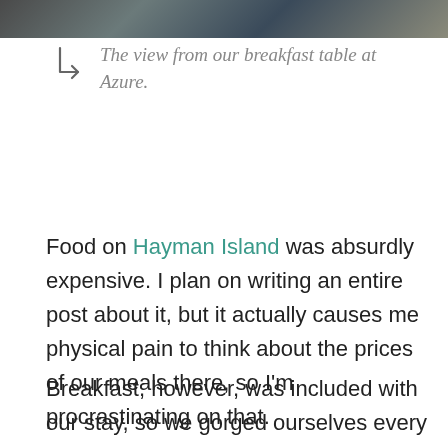[Figure (photo): Partial photo strip at top of page showing outdoor scene, possibly a beach or resort setting]
The view from our breakfast table at Azure.
Food on Hayman Island was absurdly expensive. I plan on writing an entire post about it, but it actually causes me physical pain to think about the prices of our meals there, so I'm procrastinating on that.
Breakfast, however, was included with our stay, so we gorged ourselves every morning. The buffet was